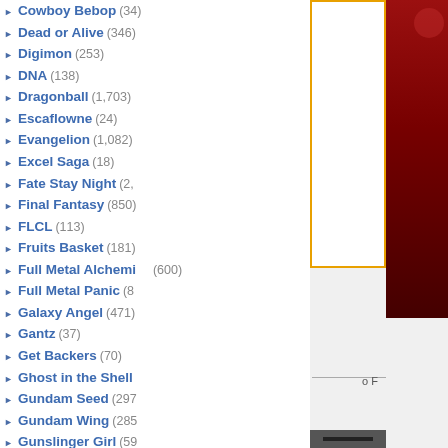Cowboy Bebop (346)
Dead or Alive (346)
Digimon (253)
DNA (138)
Dragonball (1,703)
Escaflowne (24)
Evangelion (1,082)
Excel Saga (18)
Fate Stay Night (2,...)
Final Fantasy (850)
FLCL (113)
Fruits Basket (181)
Full Metal Alchemi... (600)
Full Metal Panic (8...)
Galaxy Angel (471)
Gantz (37)
Get Backers (70)
Ghost in the Shell
Gundam Seed (297)
Gundam Wing (285)
Gunslinger Girl (59)
Hack Sign (78)
Haibane Renmei (...)
Hamtaro (50)
Hello Kitty (299)
Hellsing (339)
Howls Moving Cas... (60)
Hyper Police (9)